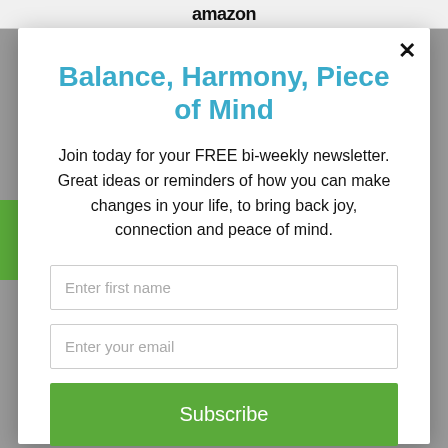amazon
Balance, Harmony, Piece of Mind
Join today for your FREE bi-weekly newsletter. Great ideas or reminders of how you can make changes in your life, to bring back joy, connection and peace of mind.
Enter first name
Enter your email
Subscribe
powered by MailMunch